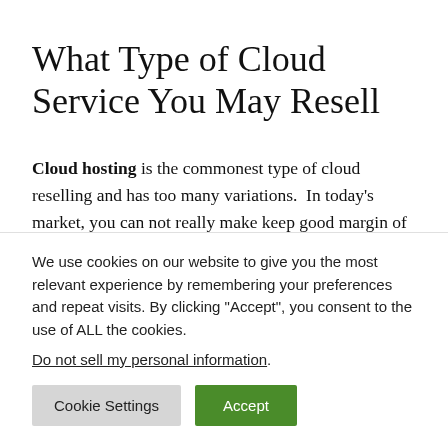What Type of Cloud Service You May Resell
Cloud hosting is the commonest type of cloud reselling and has too many variations.  In today’s market, you can not really make keep good margin of profit just by
We use cookies on our website to give you the most relevant experience by remembering your preferences and repeat visits. By clicking “Accept”, you consent to the use of ALL the cookies.
Do not sell my personal information.
Cookie Settings   Accept